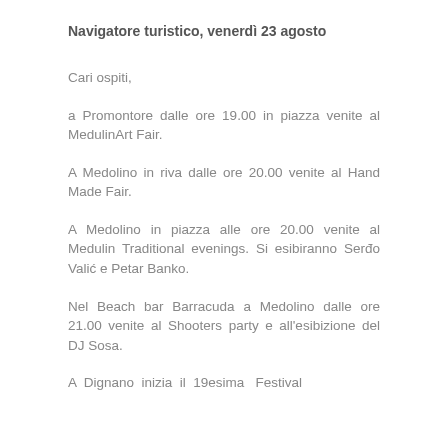Navigatore turistico, venerdì 23 agosto
Cari ospiti,
a Promontore dalle ore 19.00 in piazza venite al MedulinArt Fair.
A Medolino in riva dalle ore 20.00 venite al Hand Made Fair.
A Medolino in piazza alle ore 20.00 venite al Medulin Traditional evenings. Si esibiranno Serđo Valić e Petar Banko.
Nel Beach bar Barracuda a Medolino dalle ore 21.00 venite al Shooters party e all'esibizione del DJ Sosa.
A Dignano inizia il 19esima Festival